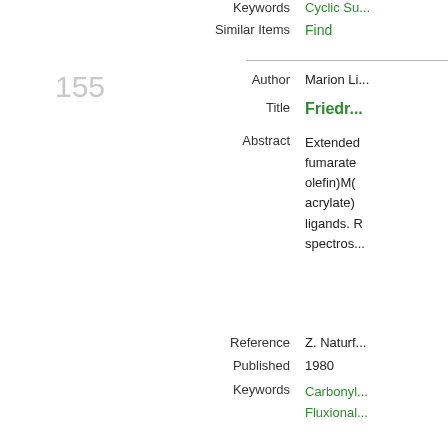Keywords   Cyclic Su...
Similar Items   Find
155
Author   Marion Li...
Title   Friedr...
Abstract   Extended fumarate olefin)M( acrylate) ligands. R spectros...
Reference   Z. Naturf...
Published   1980
Keywords   Carbonyl Fluxional...
Similar Items   Find
156
Author   Dierk Kni...
Title   pdf
Abstract   The two s are selc...